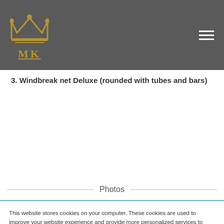MK logo and navigation
3. Windbreak net Deluxe (rounded with tubes and bars)
Photos
This website stores cookies on your computer. These cookies are used to improve your website experience and provide more personalized services to you, both on this website and through other media. To find out more about the cookies we use, see our Privacy Policy.
We won't track your information when you visit our site. But in order to comply with your preferences, we'll have to use just one tiny cookie so that you're not asked to make this choice again.